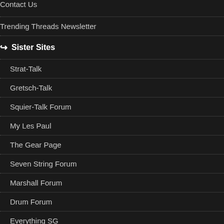Contact Us
Trending Threads Newsletter
Sister Sites
Strat-Talk
Gretsch-Talk
Squier-Talk Forum
My Les Paul
The Gear Page
Seven String Forum
Marshall Forum
Drum Forum
Everything SG
Epiphone Talk
Disclosure